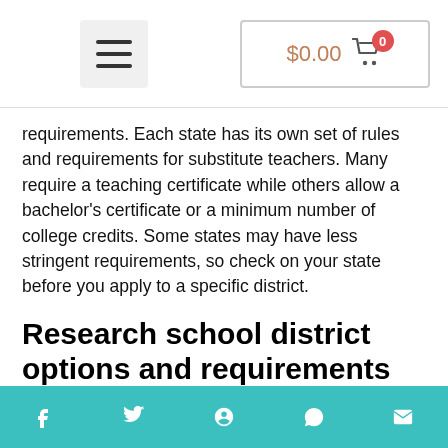$0.00 [cart icon]
requirements. Each state has its own set of rules and requirements for substitute teachers. Many require a teaching certificate while others allow a bachelor's certificate or a minimum number of college credits. Some states may have less stringent requirements, so check on your state before you apply to a specific district.
Research school district options and requirements to become a substitute teacher.
After...
f  [twitter]  [pinterest]  [whatsapp]  [email]